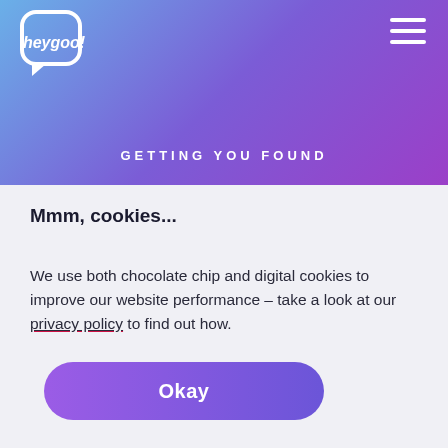[Figure (logo): heygoo! logo in white on gradient purple-blue speech bubble background]
GETTING YOU FOUND
Mmm, cookies...
We use both chocolate chip and digital cookies to improve our website performance – take a look at our privacy policy to find out how.
[Figure (other): Okay button – purple rounded pill button with white text]